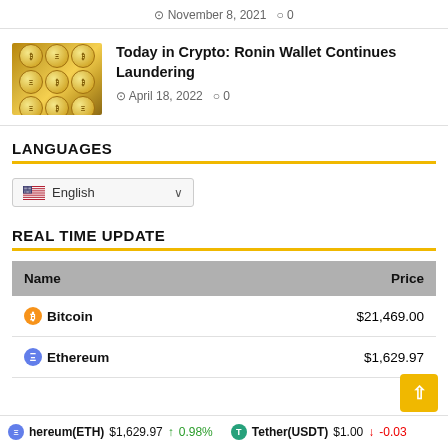November 8, 2021  0
[Figure (photo): Pile of gold cryptocurrency coins]
Today in Crypto: Ronin Wallet Continues Laundering
April 18, 2022  0
LANGUAGES
English
REAL TIME UPDATE
| Name | Price |
| --- | --- |
| Bitcoin | $21,469.00 |
| Ethereum | $1,629.97 |
hereum(ETH) $1,629.97 ↑ 0.98%   Tether(USDT) $1.00 ↓ -0.039